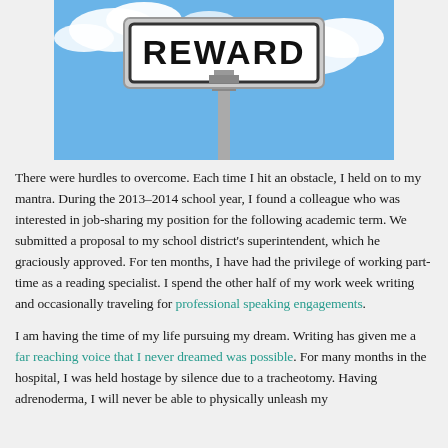[Figure (photo): A street sign reading 'REWARD' against a blue sky with clouds]
There were hurdles to overcome. Each time I hit an obstacle, I held on to my mantra. During the 2013–2014 school year, I found a colleague who was interested in job-sharing my position for the following academic term. We submitted a proposal to my school district's superintendent, which he graciously approved. For ten months, I have had the privilege of working part-time as a reading specialist. I spend the other half of my work week writing and occasionally traveling for professional speaking engagements.
I am having the time of my life pursuing my dream. Writing has given me a far reaching voice that I never dreamed was possible. For many months in the hospital, I was held hostage by silence due to a tracheotomy. Having adrenoderma, I will never be able to physically unleash my...